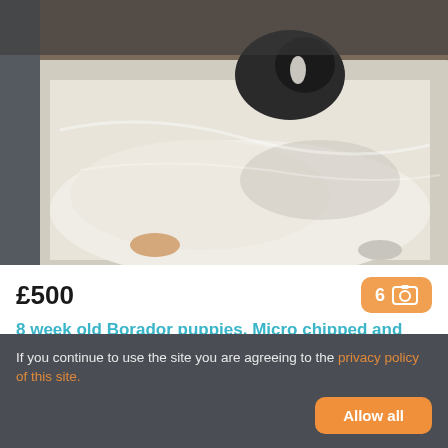[Figure (photo): Photo of dogs/puppies lying on white bedding, black and white dogs visible]
£500
8 week old Borador puppies. Micro chipped and ready for new homes
Llandrindod Wells / Llandrindod, Powys, LD1 5
46.6 miles from Caerphilly / Caerffili
If you continue to use the site you are agreeing to the privacy policy of this site.